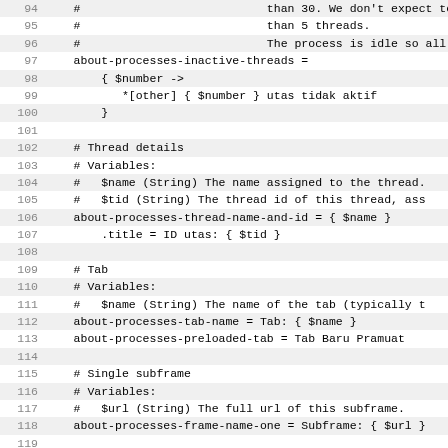[Figure (screenshot): Source code listing showing lines 94-125 of a localization/properties file, with line numbers on the left and code content on the right. The code contains comments and key-value pairs for Firefox about:processes page localization in Indonesian language.]